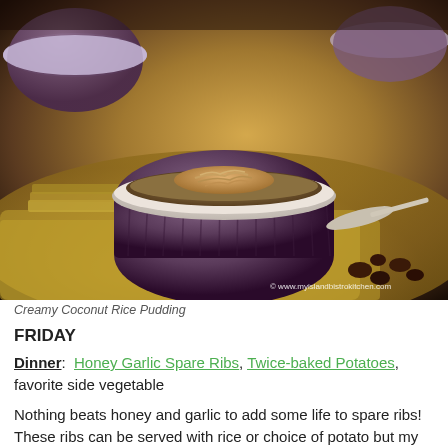[Figure (photo): Photo of creamy coconut rice pudding served in a dark purple/brown ribbed ramekin with white rim, topped with toasted coconut shreds, placed on a yellow polka-dot mat with another ramekin in background and raisins to the right. Watermark reads © www.myislandbistrokitchen.com]
Creamy Coconut Rice Pudding
FRIDAY
Dinner: Honey Garlic Spare Ribs, Twice-baked Potatoes, favorite side vegetable
Nothing beats honey and garlic to add some life to spare ribs! These ribs can be served with rice or choice of potato but my